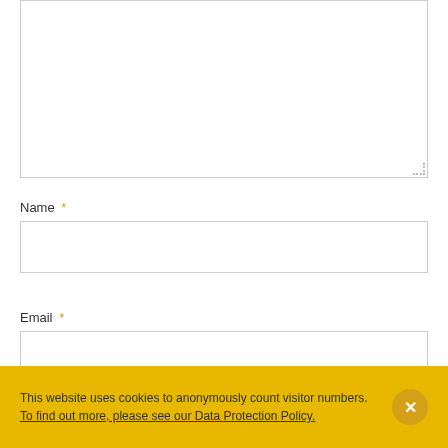[Figure (screenshot): A large empty textarea input box with a resize handle in the bottom-right corner]
Name *
[Figure (screenshot): An empty text input field for Name]
Email *
[Figure (screenshot): An empty text input field for Email]
This website uses cookies to anonymously count visitor numbers. To find out more, please see our Data Protection Policy.